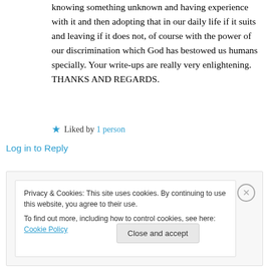knowing something unknown and having experience with it and then adopting that in our daily life if it suits and leaving if it does not, of course with the power of our discrimination which God has bestowed us humans specially. Your write-ups are really very enlightening. THANKS AND REGARDS.
★ Liked by 1 person
Log in to Reply
Privacy & Cookies: This site uses cookies. By continuing to use this website, you agree to their use.
To find out more, including how to control cookies, see here: Cookie Policy